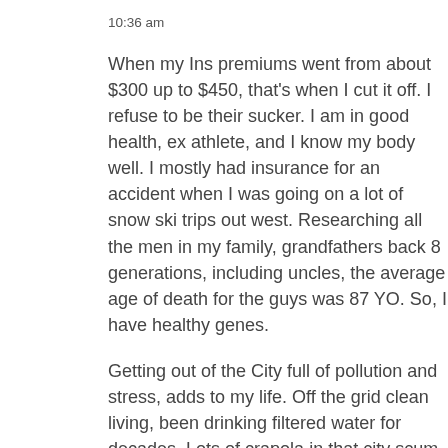10:36 am
When my Ins premiums went from about $300 up to $450, that's when I cut it off. I refuse to be their sucker. I am in good health, ex athlete, and I know my body well. I mostly had insurance for an accident when I was going on a lot of snow ski trips out west. Researching all the men in my family, grandfathers back 8 generations, including uncles, the average age of death for the guys was 87 YO. So, I have healthy genes.
Getting out of the City full of pollution and stress, adds to my life. Off the grid clean living, been drinking filtered water for decades. Lots of crapola in that city scum then call municipal drinking water. I just looked at the water filters I replaced in my